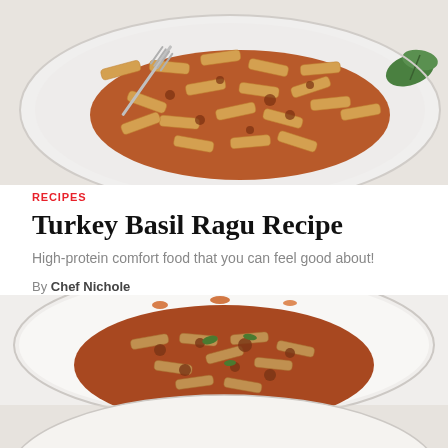[Figure (photo): Top-down view of a white plate with penne pasta in tomato meat sauce, with a fork and a green basil leaf on the right side]
RECIPES
Turkey Basil Ragu Recipe
High-protein comfort food that you can feel good about!
By Chef Nichole
[Figure (photo): Close-up of pasta in a bowl with chunky tomato turkey ragu sauce garnished with fresh basil, with the bottom of the image fading to show more of the dish below]